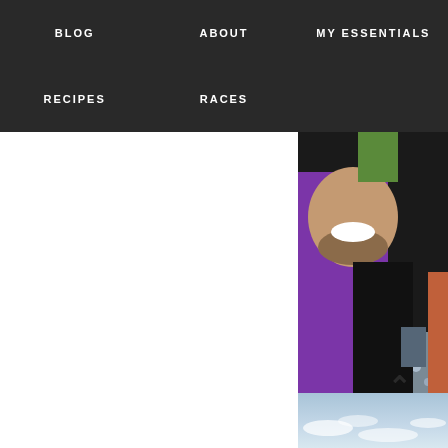BLOG  ABOUT  MY ESSENTIALS  RECIPES  RACES
[Figure (photo): A man in a purple shirt hugging a woman in a beaded grey dress, both laughing. The photo is cropped and partially visible on the right side of the page.]
We were driving 4 hours south to see my cousin Kara marry her long-time was one of the most beautiful weddings I have witnessed in my life! The loc
[Figure (photo): A sky with blue sky and light clouds, partially visible at the bottom of the page.]